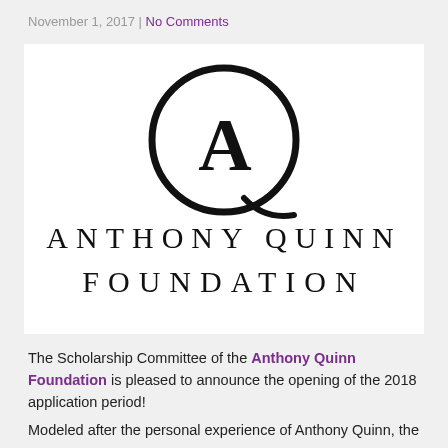November 1, 2017 | No Comments
[Figure (logo): Anthony Quinn Foundation logo: large circular Q monogram with A inside, and text ANTHONY QUINN FOUNDATION in spaced serif capitals below]
The Scholarship Committee of the Anthony Quinn Foundation is pleased to announce the opening of the 2018 application period!
Modeled after the personal experience of Anthony Quinn, the